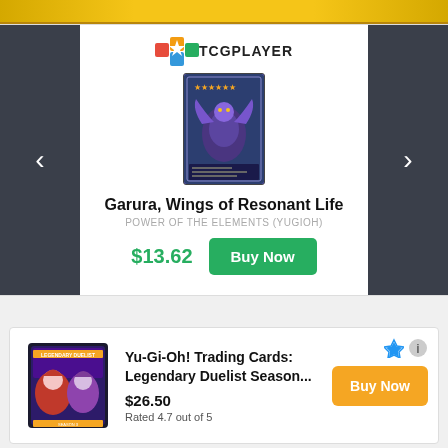[Figure (illustration): Yellow/gold banner at top of page, partially visible]
[Figure (logo): TCGPlayer logo with colorful block icon and bold TCGPLAYER text]
[Figure (illustration): Yu-Gi-Oh trading card: Garura, Wings of Resonant Life, dark/purple card with dragon artwork]
Garura, Wings of Resonant Life
POWER OF THE ELEMENTS (YUGIOH)
$13.62
Buy Now
[Figure (illustration): Yu-Gi-Oh! Legendary Duelist Season product box image]
Yu-Gi-Oh! Trading Cards: Legendary Duelist Season...
$26.50
Rated 4.7 out of 5
Buy Now